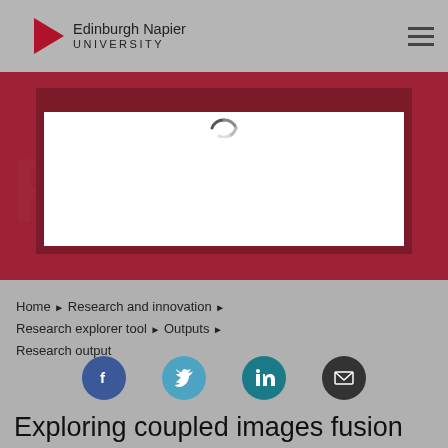[Figure (logo): Edinburgh Napier University logo with red triangle arrow and text]
[Figure (screenshot): Red banner with search box overlay and partial large letter R visible; white search input box with loading spinner]
Home ▶ Research and innovation ▶ Research explorer tool ▶ Outputs ▶ Research output
[Figure (infographic): Social sharing icons: Facebook (blue), Twitter (light blue), LinkedIn (teal), Email (dark)]
Exploring coupled images fusion